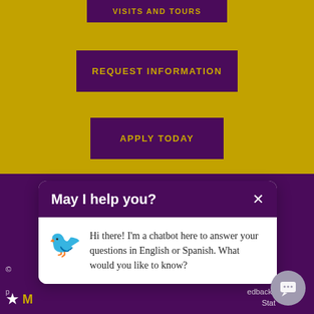[Figure (screenshot): University website screenshot showing gold/yellow textured background with purple call-to-action buttons and a chatbot popup]
VISITS AND TOURS
REQUEST INFORMATION
APPLY TODAY
May I help you?
Hi there! I'm a chatbot here to answer your questions in English or Spanish. What would you like to know?
© ... nkato | p... edback
M ... Stat...